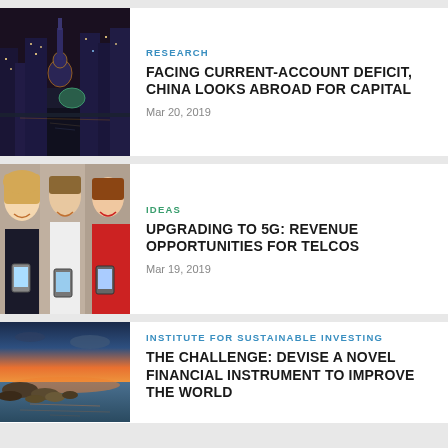[Figure (photo): Nighttime cityscape of Shanghai with illuminated skyscrapers and the Pearl Tower reflected in water]
RESEARCH
FACING CURRENT-ACCOUNT DEFICIT, CHINA LOOKS ABROAD FOR CAPITAL
Mar 20, 2019
[Figure (photo): Three people smiling and looking at smartphones — two women and a man]
IDEAS
UPGRADING TO 5G: REVENUE OPPORTUNITIES FOR TELCOS
Mar 19, 2019
[Figure (photo): Scenic landscape with rocky shore, calm water reflecting sunset sky]
INSTITUTE FOR SUSTAINABLE INVESTING
THE CHALLENGE: DEVISE A NOVEL FINANCIAL INSTRUMENT TO IMPROVE THE WORLD